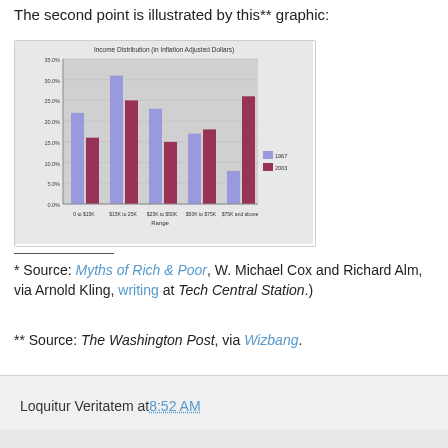The second point is illustrated by this** graphic:
[Figure (grouped-bar-chart): Income Distribution (in Inflation Adjusted Dollars)]
* Source: Myths of Rich & Poor, W. Michael Cox and Richard Alm, via Arnold Kling, writing at Tech Central Station.)
** Source: The Washington Post, via Wizbang.
Loquitur Veritatem at 8:52 AM